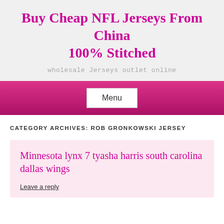Buy Cheap NFL Jerseys From China 100% Stitched
wholesale Jerseys outlet online
Menu
CATEGORY ARCHIVES: ROB GRONKOWSKI JERSEY
Minnesota lynx 7 tyasha harris south carolina dallas wings
Leave a reply